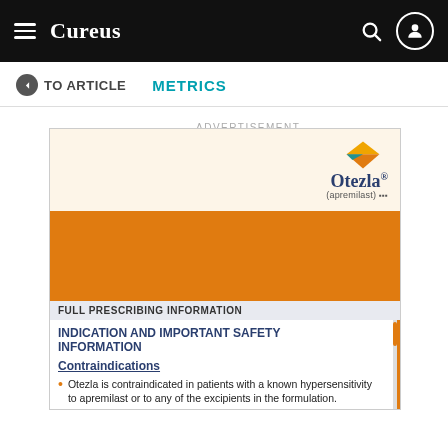Cureus
← TO ARTICLE   METRICS
ADVERTISEMENT
[Figure (other): Otezla (apremilast) pharmaceutical advertisement. Top section shows Otezla logo with diamond shape on cream background, followed by a large orange band. Below is prescription information section with 'FULL PRESCRIBING INFORMATION' header, 'INDICATION AND IMPORTANT SAFETY INFORMATION' title, 'Contraindications' subsection, and bullet point: 'Otezla is contraindicated in patients with a known hypersensitivity to apremilast or to any of the excipients in the formulation.']